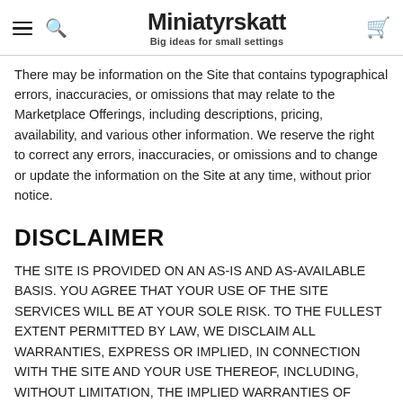Miniatyrskatt — Big ideas for small settings
There may be information on the Site that contains typographical errors, inaccuracies, or omissions that may relate to the Marketplace Offerings, including descriptions, pricing, availability, and various other information. We reserve the right to correct any errors, inaccuracies, or omissions and to change or update the information on the Site at any time, without prior notice.
DISCLAIMER
THE SITE IS PROVIDED ON AN AS-IS AND AS-AVAILABLE BASIS. YOU AGREE THAT YOUR USE OF THE SITE SERVICES WILL BE AT YOUR SOLE RISK. TO THE FULLEST EXTENT PERMITTED BY LAW, WE DISCLAIM ALL WARRANTIES, EXPRESS OR IMPLIED, IN CONNECTION WITH THE SITE AND YOUR USE THEREOF, INCLUDING, WITHOUT LIMITATION, THE IMPLIED WARRANTIES OF MERCHANTABILITY, FITNESS FOR A PARTICULAR PURPOSE, AND NON-INFRINGEMENT. WE MAKE NO WARRANTIES OR REPRESENTATIONS ABOUT THE ACCURACY